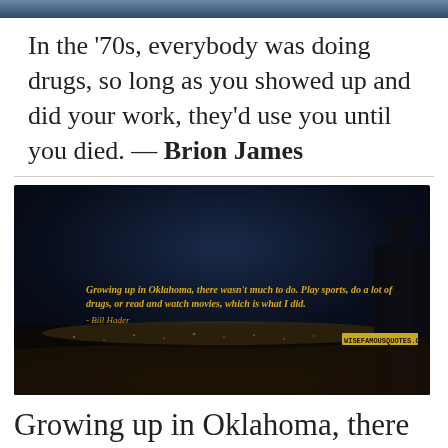[Figure (photo): Dark night sky background image strip at top of page]
In the '70s, everybody was doing drugs, so long as you showed up and did your work, they'd use you until you died. — Brion James
[Figure (photo): Dark nighttime cityscape/landscape image with quote overlay in yellow text: 'Growing up in Oklahoma, there wasn't much to do. Play sports, do a lot of drugs, or read and watch movies, which is what I did. - Bill Hader' and website wisefamousquotes.com shown at bottom]
Growing up in Oklahoma, there